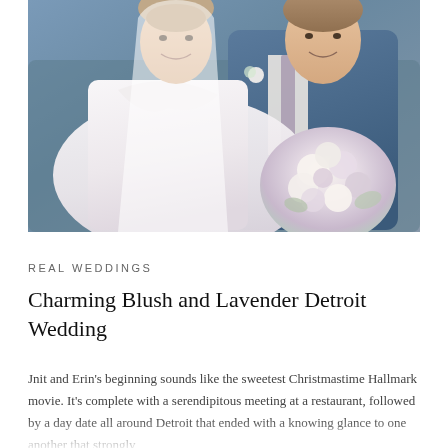[Figure (photo): Wedding couple seated inside a vintage car. The bride is in a white lace wedding dress holding a bouquet of white and lavender roses. The groom is in a blue suit with a purple tie and white boutonniere.]
REAL WEDDINGS
Charming Blush and Lavender Detroit Wedding
Jnit and Erin's beginning sounds like the sweetest Christmastime Hallmark movie. It's complete with a serendipitous meeting at a restaurant, followed by a day date all around Detroit that ended with a knowing glance to one another that strongly